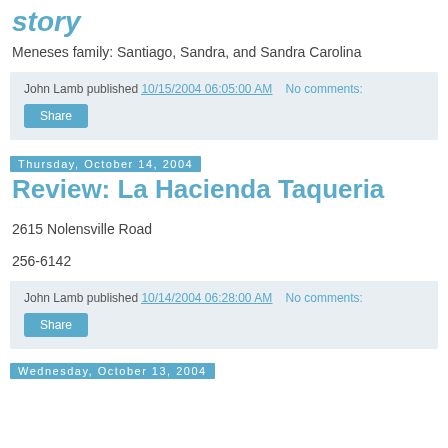story
Meneses family: Santiago, Sandra, and Sandra Carolina
John Lamb published 10/15/2004 06:05:00 AM   No comments:
Share
Thursday, October 14, 2004
Review: La Hacienda Taqueria
2615 Nolensville Road
256-6142
John Lamb published 10/14/2004 06:28:00 AM   No comments:
Share
Wednesday, October 13, 2004